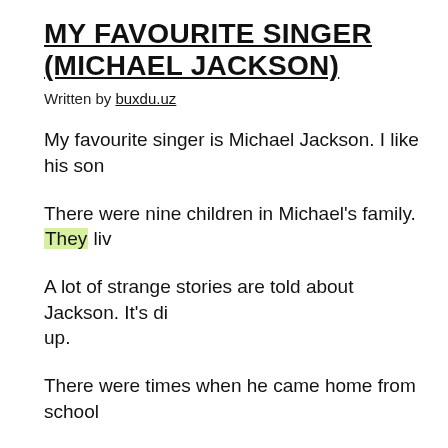MY FAVOURITE SINGER (MICHAEL JACKSON)
Written by buxdu.uz
My favourite singer is Michael Jackson. I like his son
There were nine children in Michael's family. They liv
A lot of strange stories are told about Jackson. It's di up.
There were times when he came home from school
He said about himself that in the crowd he was afrai known for his childish tastes. It's not a secret that his